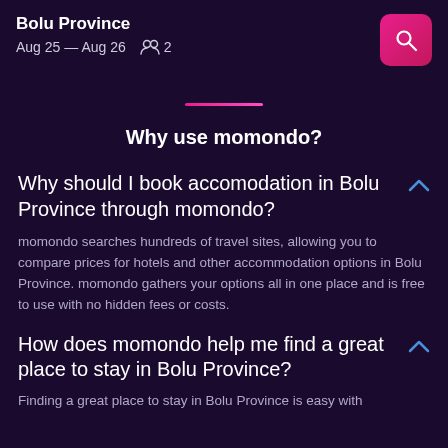Bolu Province
Aug 25 — Aug 26   2
Why use momondo?
Why should I book accomodation in Bolu Province through momondo?
momondo searches hundreds of travel sites, allowing you to compare prices for hotels and other accommodation options in Bolu Province. momondo gathers your options all in one place and is free to use with no hidden fees or costs.
How does momondo help me find a great place to stay in Bolu Province?
Finding a great place to stay in Bolu Province is easy with